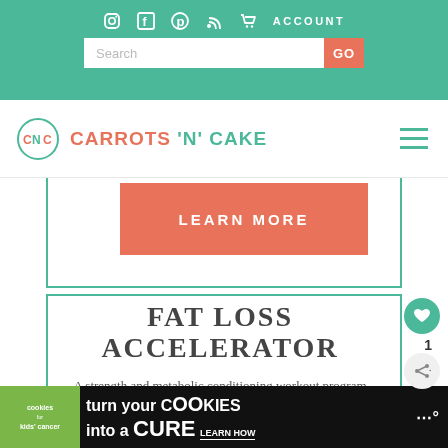Navigation bar with social icons, ACCOUNT link, and Search/GO bar — Carrots N Cake website header
[Figure (logo): Carrots N Cake logo with CNC circle emblem and text, plus hamburger menu icon]
LEARN MORE
FAT LOSS ACCELERATOR
A strength and metabolic conditioning workout program for those who want lean results in 30
[Figure (other): Cookies for Kids Cancer advertisement banner — turn your cookies into a CURE LEARN HOW]